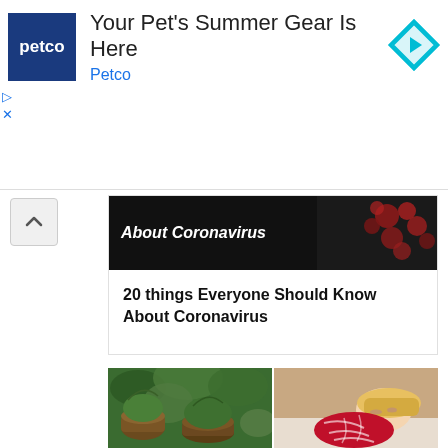[Figure (screenshot): Petco advertisement banner with Petco logo, text 'Your Pet's Summer Gear Is Here' and 'Petco', and a blue diamond navigation icon]
[Figure (screenshot): Article card with dark header image showing 'About Coronavirus' title text over dark background with red berries, and article title '20 things Everyone Should Know About Coronavirus']
20 things Everyone Should Know About Coronavirus
[Figure (photo): Two side-by-side photos: left shows green plants/herbs in baskets at a market, right shows a blonde woman sleeping in red pajamas]